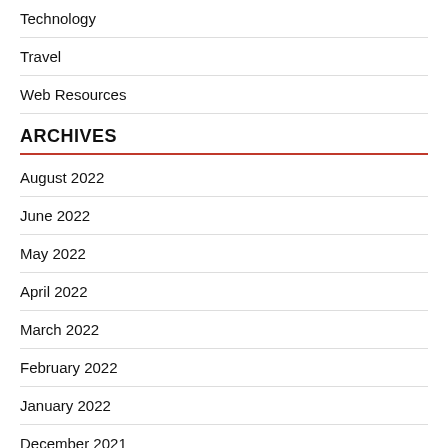Technology
Travel
Web Resources
ARCHIVES
August 2022
June 2022
May 2022
April 2022
March 2022
February 2022
January 2022
December 2021
November 2021